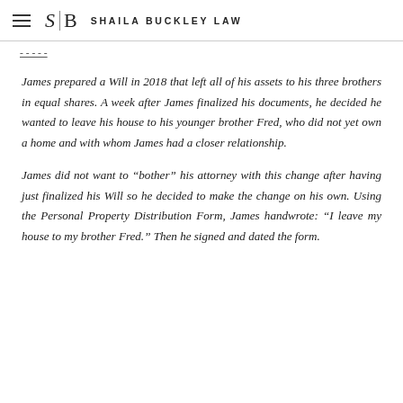SHAILA BUCKLEY LAW
James prepared a Will in 2018 that left all of his assets to his three brothers in equal shares. A week after James finalized his documents, he decided he wanted to leave his house to his younger brother Fred, who did not yet own a home and with whom James had a closer relationship.
James did not want to "bother" his attorney with this change after having just finalized his Will so he decided to make the change on his own. Using the Personal Property Distribution Form, James handwrote: "I leave my house to my brother Fred." Then he signed and dated the form.